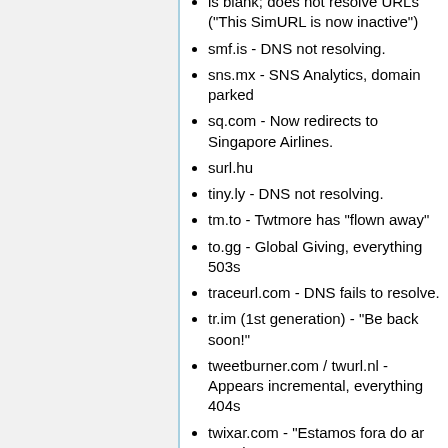is blank; does not resolve URLs ("This SimURL is now inactive")
smf.is - DNS not resolving.
sns.mx - SNS Analytics, domain parked
sq.com - Now redirects to Singapore Airlines.
surl.hu
tiny.ly - DNS not resolving.
tm.to - Twtmore has "flown away"
to.gg - Global Giving, everything 503s
traceurl.com - DNS fails to resolve.
tr.im (1st generation) - "Be back soon!"
tweetburner.com / twurl.nl - Appears incremental, everything 404s
twixar.com - "Estamos fora do ar por algum tempo, mas estamos trabalhando para voltar a oferecer o